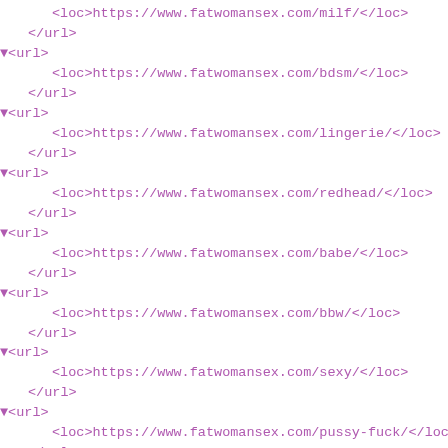<loc>https://www.fatwomansex.com/milf/</loc>
</url>
▼<url>
    <loc>https://www.fatwomansex.com/bdsm/</loc>
</url>
▼<url>
    <loc>https://www.fatwomansex.com/lingerie/</loc>
</url>
▼<url>
    <loc>https://www.fatwomansex.com/redhead/</loc>
</url>
▼<url>
    <loc>https://www.fatwomansex.com/babe/</loc>
</url>
▼<url>
    <loc>https://www.fatwomansex.com/bbw/</loc>
</url>
▼<url>
    <loc>https://www.fatwomansex.com/sexy/</loc>
</url>
▼<url>
    <loc>https://www.fatwomansex.com/pussy-fuck/</loc>
</url>
▼<url>
    <loc>https://www.fatwomansex.com/facesitting/</loc>
</url>
▼<url>
    <loc>https://www.fatwomansex.com/fuck/</loc>
</url>
▼<url>